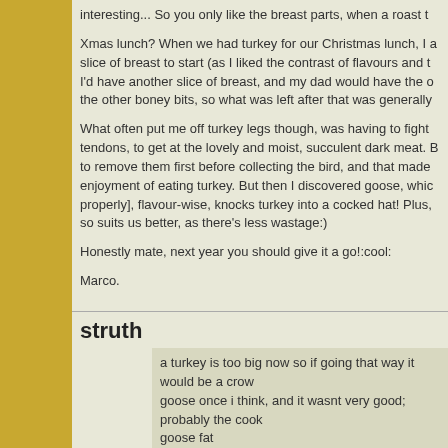interesting... So you only like the breast parts, when a roast turkey is involved in Xmas lunch? When we had turkey for our Christmas lunch, I a slice of breast to start (as I liked the contrast of flavours and t I'd have another slice of breast, and my dad would have the o the other boney bits, so what was left after that was generally

What often put me off turkey legs though, was having to fight tendons, to get at the lovely and moist, succulent dark meat. B to remove them first before collecting the bird, and that made enjoyment of eating turkey. But then I discovered goose, whic properly], flavour-wise, knocks turkey into a cocked hat! Plus, so suits us better, as there's less wastage:)

Honestly mate, next year you should give it a go!:cool:

Marco.
struth
a turkey is too big now so if going that way it would be a crow goose once i think, and it wasnt very good; probably the cook goose fat
Marco